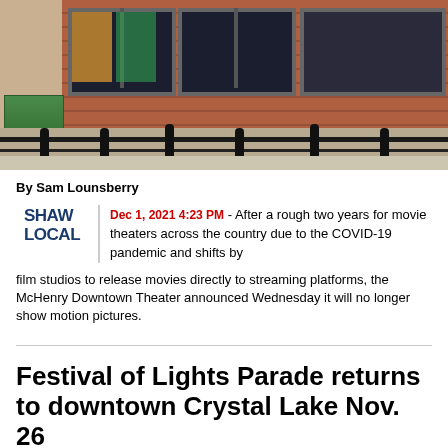[Figure (photo): Exterior photo of McHenry Downtown Theater showing brick facade, large dark windows with movie posters, metal railing fence in foreground, and a green sign on the left side.]
By Sam Lounsberry
[Figure (logo): Shaw Local logo in bold dark blue uppercase text]
Dec 1, 2021 4:23 PM - After a rough two years for movie theaters across the country due to the COVID-19 pandemic and shifts by film studios to release movies directly to streaming platforms, the McHenry Downtown Theater announced Wednesday it will no longer show motion pictures.
Festival of Lights Parade returns to downtown Crystal Lake Nov. 26